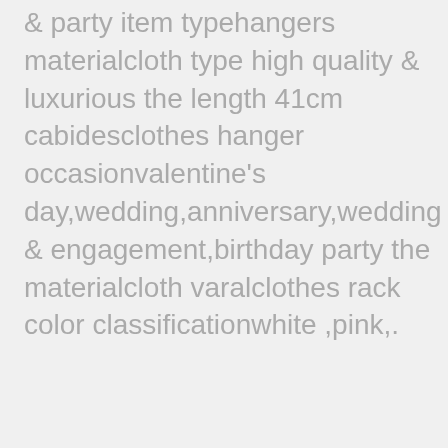& party item typehangers materialcloth type high quality & luxurious the length 41cm cabidesclothes hanger occasionvalentine's day,wedding,anniversary,wedding & engagement,birthday party the materialcloth varalclothes rack color classificationwhite ,pink,.